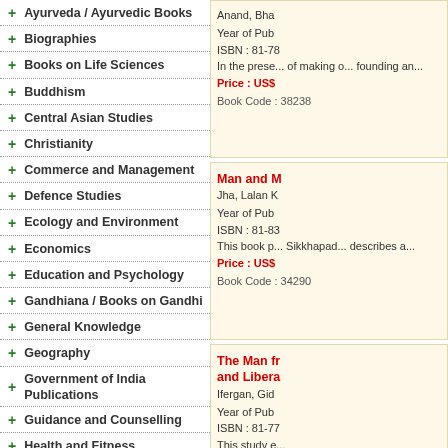+ Ayurveda / Ayurvedic Books
+ Biographies
+ Books on Life Sciences
+ Buddhism
+ Central Asian Studies
+ Christianity
+ Commerce and Management
+ Defence Studies
+ Ecology and Environment
+ Economics
+ Education and Psychology
+ Gandhiana / Books on Gandhi
+ General Knowledge
+ Geography
+ Government of India Publications
+ Guidance and Counselling
+ Health and Fitness
+ Himalayan Studies
+ Hinduism
+ History
+ Human Rights
+ Information Technology
Anand, Bha... | Year of Pub... | ISBN : 81-78... | In the prese... of making o... founding an... | Price : US$... | Book Code : 38238
Man and M... | Jha, Lalan K... | Year of Pub... | ISBN : 81-83... | This book p... Sikkhapad... describes a... | Price : US$... | Book Code : 34290
The Man fr... and Libera... | Ifergan, Gid... | Year of Pub... | ISBN : 81-77... | This study e... (1308-136...